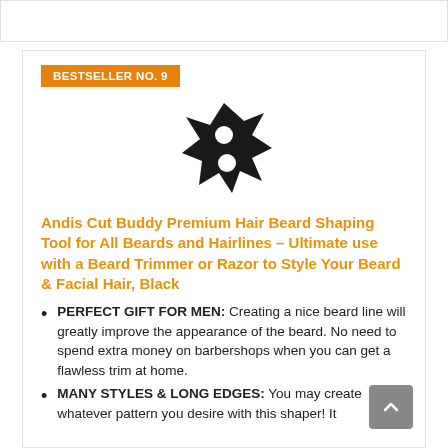[Figure (other): Bestseller badge label — orange rectangle with text BESTSELLER NO. 9]
[Figure (photo): Product image of Andis Cut Buddy beard shaping tool, black star-like shaped tool with two circular holes]
Andis Cut Buddy Premium Hair Beard Shaping Tool for All Beards and Hairlines – Ultimate use with a Beard Trimmer or Razor to Style Your Beard & Facial Hair, Black
PERFECT GIFT FOR MEN: Creating a nice beard line will greatly improve the appearance of the beard. No need to spend extra money on barbershops when you can get a flawless trim at home.
MANY STYLES & LONG EDGES: You may create whatever pattern you desire with this shaper! It